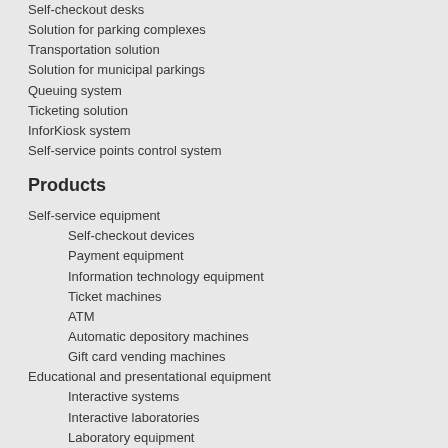Self-checkout desks
Solution for parking complexes
Transportation solution
Solution for municipal parkings
Queuing system
Ticketing solution
InforKiosk system
Self-service points control system
Products
Self-service equipment
Self-checkout devices
Payment equipment
Information technology equipment
Ticket machines
ATM
Automatic depository machines
Gift card vending machines
Educational and presentational equipment
Interactive systems
Interactive laboratories
Laboratory equipment
Special equipment